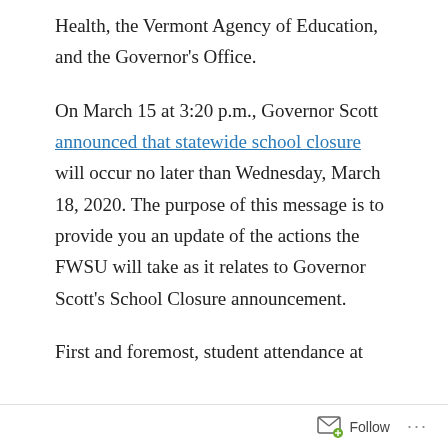Health, the Vermont Agency of Education, and the Governor's Office.
On March 15 at 3:20 p.m., Governor Scott announced that statewide school closure will occur no later than Wednesday, March 18, 2020. The purpose of this message is to provide you an update of the actions the FWSU will take as it relates to Governor Scott's School Closure announcement.
First and foremost, student attendance at
Follow ···